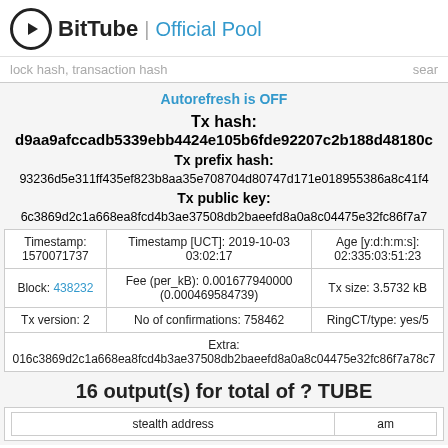BitTube | Official Pool
lock hash, transaction hash   sear
Autorefresh is OFF
Tx hash: d9aa9afccadb5339ebb4424e105b6fde92207c2b188d48180c
Tx prefix hash: 93236d5e311ff435ef823b8aa35e708704d80747d171e018955386a8c41f4
Tx public key: 6c3869d2c1a668ea8fcd4b3ae37508db2baeefd8a0a8c04475e32fc86f7a7
| Timestamp | Timestamp [UCT] | Age [y:d:h:m:s] |
| --- | --- | --- |
| Timestamp:
1570071737 | Timestamp [UCT]: 2019-10-03
03:02:17 | Age [y:d:h:m:s]:
02:335:03:51:23 |
| Block: 438232 | Fee (per_kB): 0.001677940000
(0.000469584739) | Tx size: 3.5732 kB |
| Tx version: 2 | No of confirmations: 758462 | RingCT/type: yes/5 |
| Extra:
016c3869d2c1a668ea8fcd4b3ae37508db2baeefd8a0a8c04475e32fc86f7a78c7 |  |  |
16 output(s) for total of ? TUBE
| stealth address | am |
| --- | --- |